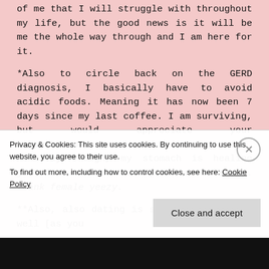of me that I will struggle with throughout my life, but the good news is it will be me the whole way through and I am here for it.
*Also to circle back on the GERD diagnosis, I basically have to avoid acidic foods. Meaning it has now been 7 days since my last coffee. I am surviving, but would appreciate your #thoughtsandprays in this trying time. Honestly though, my stomach is healing just fine and the back pain has subsided. Thank female yeezy.
**Also, also dating is still going really well [as you
Privacy & Cookies: This site uses cookies. By continuing to use this website, you agree to their use.
To find out more, including how to control cookies, see here: Cookie Policy
Close and accept